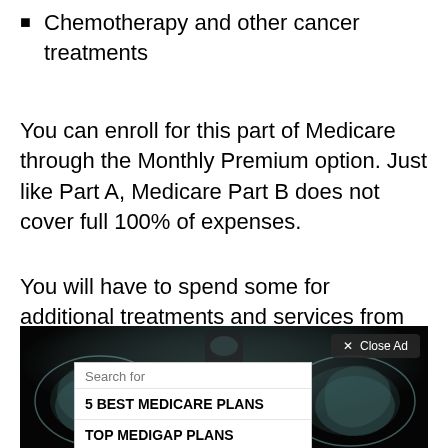Chemotherapy and other cancer treatments
You can enroll for this part of Medicare through the Monthly Premium option. Just like Part A, Medicare Part B does not cover full 100% of expenses.
You will have to spend some for additional treatments and services from your pocket.
[Figure (screenshot): X-ray image of hip/pelvis area with an overlay advertisement search box showing '5 BEST MEDICARE PLANS' and 'TOP MEDIGAP PLANS' options, with a 'x Close Ad' button and 'Ad | Business Focus' footer.]